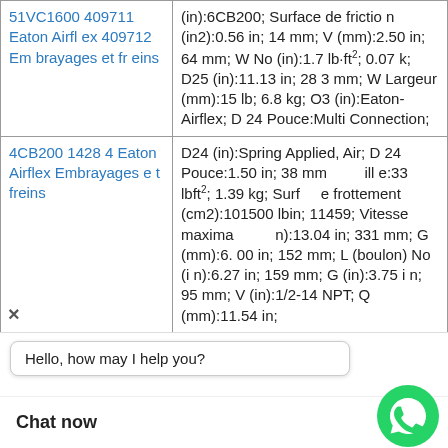| Product | Specifications |
| --- | --- |
| 51VC1600 409711 Eaton Airflex 409712 Embrayages et freins | (in):6CB200; Surface de friction (in2):0.56 in; 14 mm; V (mm):2.50 in; 64 mm; W No (in):1.7 lb·ft²; 0.07 k; D25 (in):11.13 in; 283 mm; W Largeur (mm):15 lb; 6.8 kg; O3 (in):Eaton-Airflex; D24 Pouce:Multi Connection; |
| 4CB200 14284 Eaton Airflex Embrayages et freins | D24 (in):Spring Applied, Air; D24 Pouce:1.50 in; 38 mm; Grille:33 lbft²; 1.39 kg; Surface de frottement (cm2):101500 lbin; 11459; Vitesse maximale (r/mn):13.04 in; 331 mm; G (mm):6.00 in; 152 mm; L (boulon) No (in):6.27 in; 159 mm; G (in):3.75 in; 95 mm; V (in):1/2-14 NPT; Q (mm):11.54 in; |
|  | H2 (mm):695 lb; 315 kg; Q(De...):... in; 25 mm; D25 ...irflex; Surface de f ...(m2):Spring Appli... |
[Figure (other): WhatsApp Online chat widget with green WhatsApp icon and label 'WhatsApp Online']
Hello, how may I help you?
Chat now